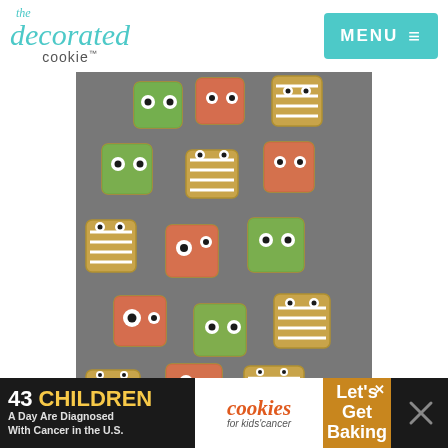the decorated cookie | MENU
[Figure (photo): Halloween pretzels decorated as monsters and mummies, viewed from above on a grey surface]
HALLOWEEN PRETZELS
[Figure (infographic): Social media sidebar with heart/like button showing 5.1K and share button]
[Figure (photo): Second food photo partially visible showing decorated cookies shaped like a wine bottle and grapes]
[Figure (photo): What's Next thumbnail: Babybel cheese decorated cookie]
WHAT'S NEXT → Babybel cheese...
[Figure (infographic): Ad banner: 43 CHILDREN A Day Are Diagnosed With Cancer in the U.S. | cookies for kids cancer | Let's Get Baking]